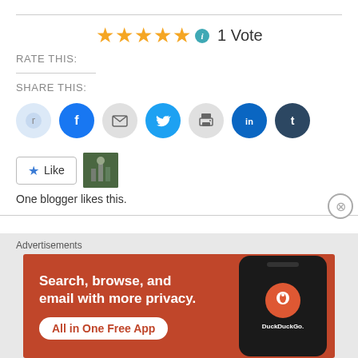[Figure (infographic): Star rating showing 5 gold stars with info icon and '1 Vote' text]
RATE THIS:
SHARE THIS:
[Figure (infographic): Social media sharing icons: Reddit, Facebook, Email, Twitter, Print, LinkedIn, Tumblr]
[Figure (infographic): Like button with star icon and blogger thumbnail photo]
One blogger likes this.
[Figure (infographic): DuckDuckGo advertisement banner: 'Search, browse, and email with more privacy. All in One Free App' with phone image]
Advertisements